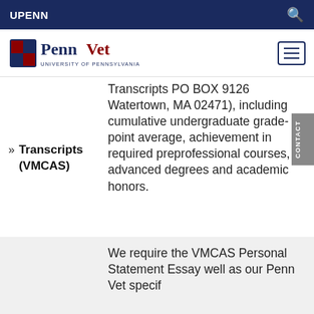UPENN
[Figure (logo): PennVet University of Pennsylvania logo with shield emblem]
Transcripts (VMCAS)
Transcripts PO BOX 9126 Watertown, MA 02471), including cumulative undergraduate grade-point average, achievement in required preprofessional courses, advanced degrees and academic honors.
We require the VMCAS Personal Statement Essay well as our Penn Vet specif